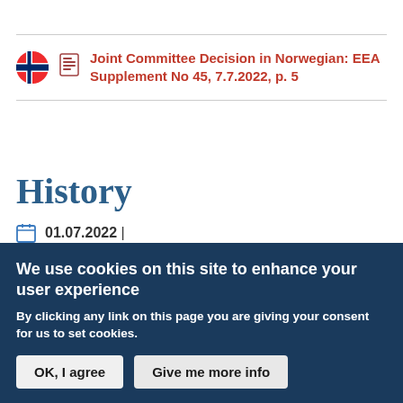Joint Committee Decision in Norwegian: EEA Supplement No 45, 7.7.2022, p. 5
History
01.07.2022 |
Adopted JCD confirmed entry into force date
We use cookies on this site to enhance your user experience
By clicking any link on this page you are giving your consent for us to set cookies.
OK, I agree
Give me more info